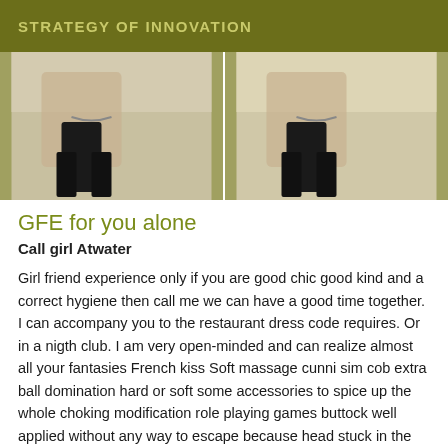STRATEGY OF INNOVATION
[Figure (photo): Two side-by-side photos of a person in lingerie with stockings, cropped to torso and thighs.]
GFE for you alone
Call girl Atwater
Girl friend experience only if you are good chic good kind and a correct hygiene then call me we can have a good time together. I can accompany you to the restaurant dress code requires. Or in a nigth club. I am very open-minded and can realize almost all your fantasies French kiss Soft massage cunni sim cob extra ball domination hard or soft some accessories to spice up the whole choking modification role playing games buttock well applied without any way to escape because head stuck in the muscular thighs of your voluptuous